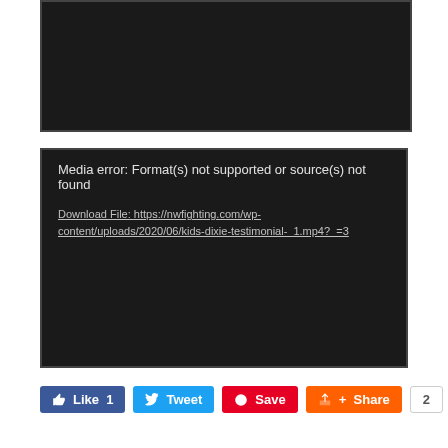[Figure (screenshot): Black video player area (top), no content visible]
[Figure (screenshot): Black media error box showing: 'Media error: Format(s) not supported or source(s) not found' and link 'Download File: https://nwfighting.com/wp-content/uploads/2020/06/kids-dixie-testimonial-_1.mp4?_=3']
Like 1   Tweet   Save   Share   2